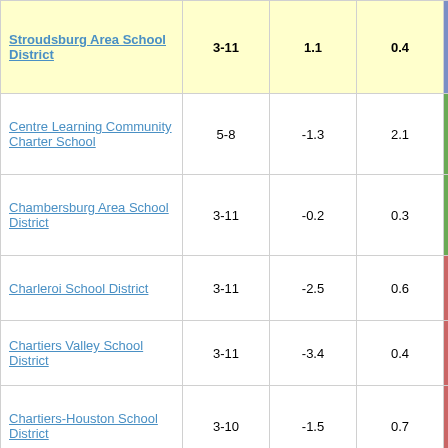| School/District | Grades | Col3 | Col4 | Score |
| --- | --- | --- | --- | --- |
| Stroudsburg Area School District | 3-11 | 1.1 | 0.4 | 2.54 |
| Centre Learning Community Charter School | 5-8 | -1.3 | 2.1 | -0.60 |
| Chambersburg Area School District | 3-11 | -0.2 | 0.3 | -0.63 |
| Charleroi School District | 3-11 | -2.5 | 0.6 | -3.90 |
| Chartiers Valley School District | 3-11 | -3.4 | 0.4 | -8.00 |
| Chartiers-Houston School District | 3-10 | -1.5 | 0.7 | -2.07 |
| Cheltenham School District | 3-11 | -2.6 | 0.6 | -4.40 |